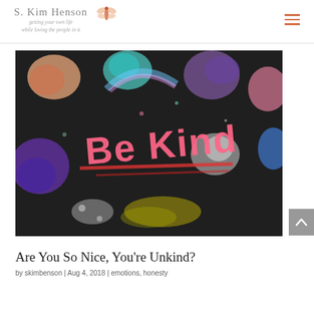S. Kim Henson — getting your own life while loving the people in it
[Figure (photo): Chalk art on dark pavement reading 'Be Kind' in pink letters with colorful chalk drawings surrounding it]
Are You So Nice, You're Unkind?
by skimbenson | Aug 4, 2018 | emotions, honesty